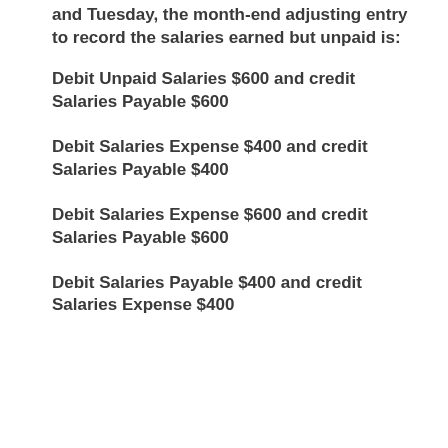and Tuesday, the month-end adjusting entry to record the salaries earned but unpaid is:
Debit Unpaid Salaries $600 and credit Salaries Payable $600
Debit Salaries Expense $400 and credit Salaries Payable $400
Debit Salaries Expense $600 and credit Salaries Payable $600
Debit Salaries Payable $400 and credit Salaries Expense $400